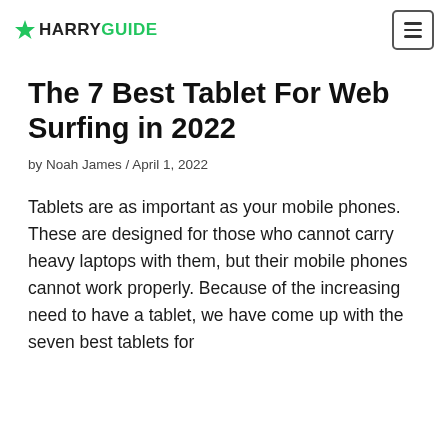HarryGuide
The 7 Best Tablet For Web Surfing in 2022
by Noah James / April 1, 2022
Tablets are as important as your mobile phones. These are designed for those who cannot carry heavy laptops with them, but their mobile phones cannot work properly. Because of the increasing need to have a tablet, we have come up with the seven best tablets for